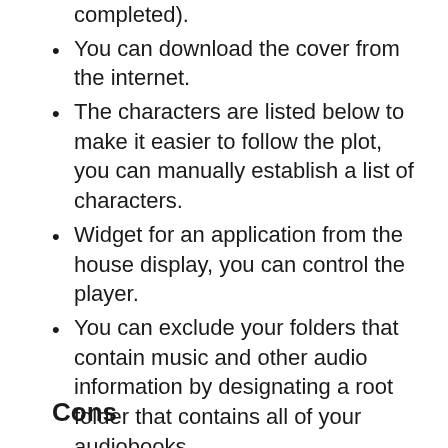completed).
You can download the cover from the internet.
The characters are listed below to make it easier to follow the plot, you can manually establish a list of characters.
Widget for an application from the house display, you can control the player.
You can exclude your folders that contain music and other audio information by designating a root folder that contains all of your audiobooks.
Cons